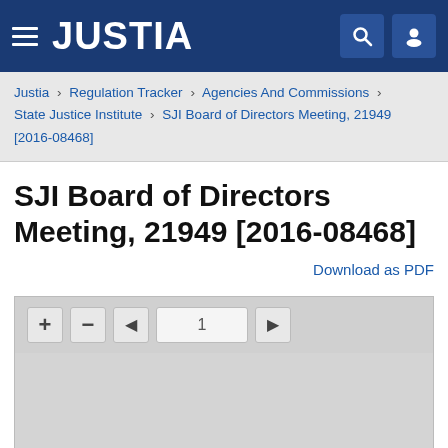JUSTIA
Justia › Regulation Tracker › Agencies And Commissions › State Justice Institute › SJI Board of Directors Meeting, 21949 [2016-08468]
SJI Board of Directors Meeting, 21949 [2016-08468]
Download as PDF
[Figure (screenshot): Document viewer widget showing zoom controls (+, -), navigation arrows, and page input field showing page 1]